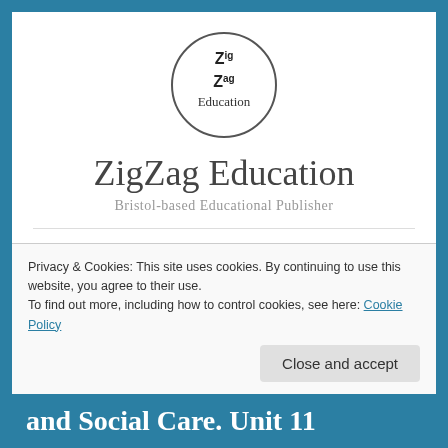[Figure (logo): ZigZag Education circular logo with stylized 'Z' letters and 'Education' text inside a circle]
ZigZag Education
Bristol-based Educational Publisher
☰ Menu
Privacy & Cookies: This site uses cookies. By continuing to use this website, you agree to their use.
To find out more, including how to control cookies, see here: Cookie Policy
Close and accept
and Social Care. Unit 11